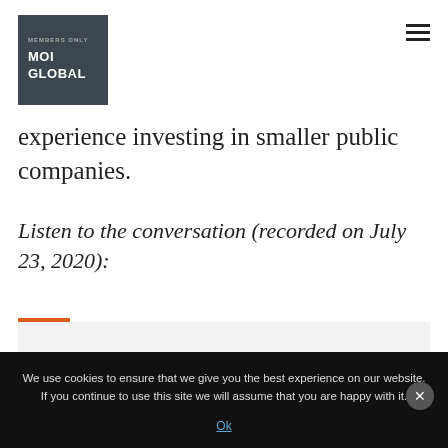[Figure (logo): MOI Global logo — dark grey square with white bold text 'MOI GLOBAL' and small grey subtext above]
experience investing in smaller public companies.
Listen to the conversation (recorded on July 23, 2020):
[Figure (screenshot): Audio player widget with orange progress bar indicator and light grey player box]
We use cookies to ensure that we give you the best experience on our website. If you continue to use this site we will assume that you are happy with it.
Ok